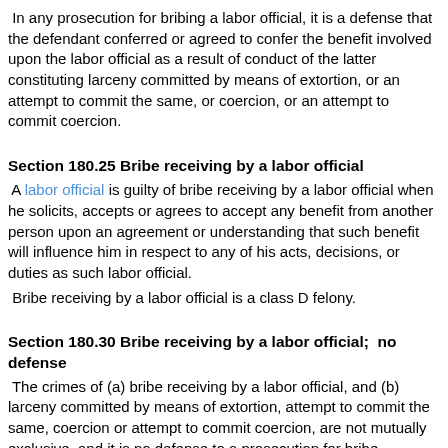In any prosecution for bribing a labor official, it is a defense that the defendant conferred or agreed to confer the benefit involved upon the labor official as a result of conduct of the latter constituting larceny committed by means of extortion, or an attempt to commit the same, or coercion, or an attempt to commit coercion.
Section 180.25 Bribe receiving by a labor official
A labor official is guilty of bribe receiving by a labor official when he solicits, accepts or agrees to accept any benefit from another person upon an agreement or understanding that such benefit will influence him in respect to any of his acts, decisions, or duties as such labor official.
Bribe receiving by a labor official is a class D felony.
Section 180.30 Bribe receiving by a labor official;  no defense
The crimes of (a) bribe receiving by a labor official, and (b) larceny committed by means of extortion, attempt to commit the same, coercion or attempt to commit coercion, are not mutually exclusive, and it is no defense to a prosecution for bribe receiving by a labor official that, by reason of the same conduct, the defendant also committed one of such other specified crimes.